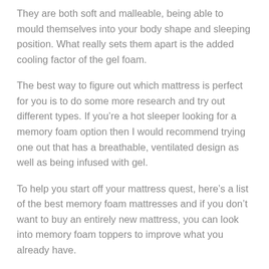They are both soft and malleable, being able to mould themselves into your body shape and sleeping position. What really sets them apart is the added cooling factor of the gel foam.
The best way to figure out which mattress is perfect for you is to do some more research and try out different types. If you're a hot sleeper looking for a memory foam option then I would recommend trying one out that has a breathable, ventilated design as well as being infused with gel.
To help you start off your mattress quest, here's a list of the best memory foam mattresses and if you don't want to buy an entirely new mattress, you can look into memory foam toppers to improve what you already have.